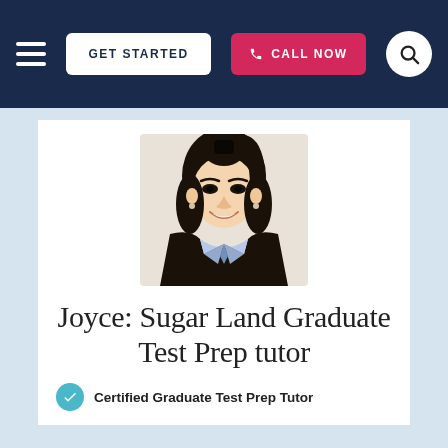GET STARTED  |  CALL NOW
[Figure (photo): Professional headshot of Joyce, a female tutor with dark hair pulled back, wearing a dark blazer and light blue collared shirt, smiling at camera against a light background]
Joyce: Sugar Land Graduate Test Prep tutor
Certified Graduate Test Prep Tutor